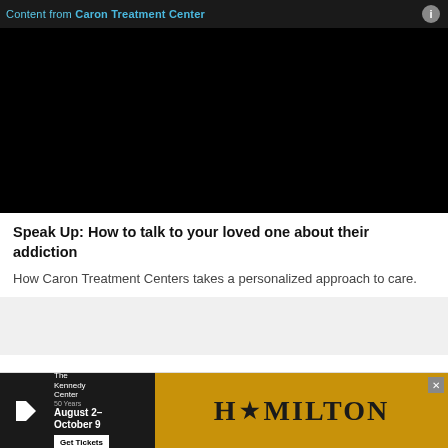Content from Caron Treatment Center
[Figure (screenshot): Black video player thumbnail]
Speak Up: How to talk to your loved one about their addiction
How Caron Treatment Centers takes a personalized approach to care.
A three-time winner of the Maryland Hunt Cup, the most prestigious amateur steeplechase in the country, Colwill
[Figure (illustration): Advertisement for Hamilton at The Kennedy Center, August 2–October 9, Get Tickets]